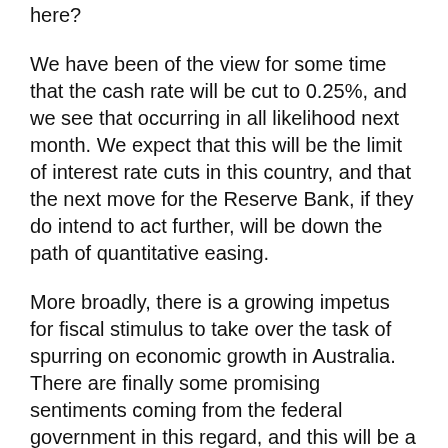here?
We have been of the view for some time that the cash rate will be cut to 0.25%, and we see that occurring in all likelihood next month. We expect that this will be the limit of interest rate cuts in this country, and that the next move for the Reserve Bank, if they do intend to act further, will be down the path of quantitative easing.
More broadly, there is a growing impetus for fiscal stimulus to take over the task of spurring on economic growth in Australia. There are finally some promising sentiments coming from the federal government in this regard, and this will be a critical area to watch in coming months.
Ultimately, interest rate cuts won’t reverse the impact of the coronavirus outbreak on our economy. Instead, what the Reserve Banks and other central bankers are aiming to do is provide some support to the economy through this period